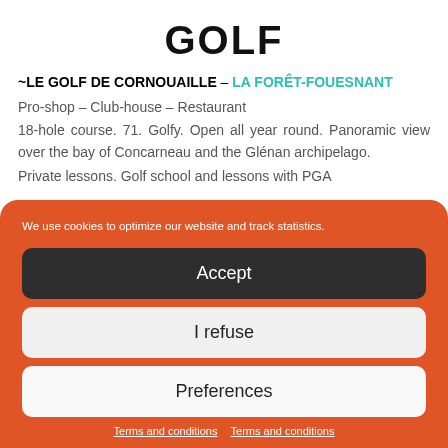GOLF
~LE GOLF DE CORNOUAILLE – LA FORÊT-FOUESNANT
Pro-shop – Club-house – Restaurant
18-hole course. 71. Golfy. Open all year round. Panoramic view over the bay of Concarneau and the Glénan archipelago.
Private lessons. Golf school and lessons with PGA
We use cookies to optimize our website and track statistics.
Accept
I refuse
Preferences
Terms and conditions  Terms and conditions